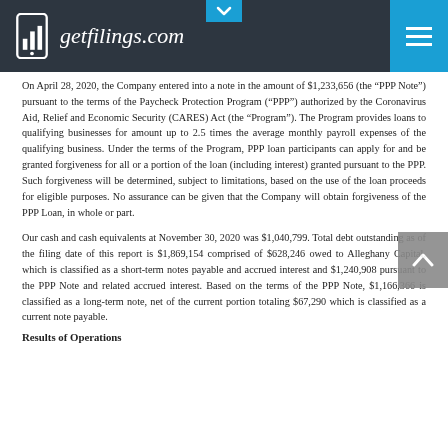getfilings.com
On April 28, 2020, the Company entered into a note in the amount of $1,233,656 (the “PPP Note”) pursuant to the terms of the Paycheck Protection Program (“PPP”) authorized by the Coronavirus Aid, Relief and Economic Security (CARES) Act (the “Program”). The Program provides loans to qualifying businesses for amount up to 2.5 times the average monthly payroll expenses of the qualifying business. Under the terms of the Program, PPP loan participants can apply for and be granted forgiveness for all or a portion of the loan (including interest) granted pursuant to the PPP. Such forgiveness will be determined, subject to limitations, based on the use of the loan proceeds for eligible purposes. No assurance can be given that the Company will obtain forgiveness of the PPP Loan, in whole or part.
Our cash and cash equivalents at November 30, 2020 was $1,040,799. Total debt outstanding as of the filing date of this report is $1,869,154 comprised of $628,246 owed to Alleghany Capital, which is classified as a short-term notes payable and accrued interest and $1,240,908 pursuant to the PPP Note and related accrued interest. Based on the terms of the PPP Note, $1,166,366 is classified as a long-term note, net of the current portion totaling $67,290 which is classified as a current note payable.
Results of Operations